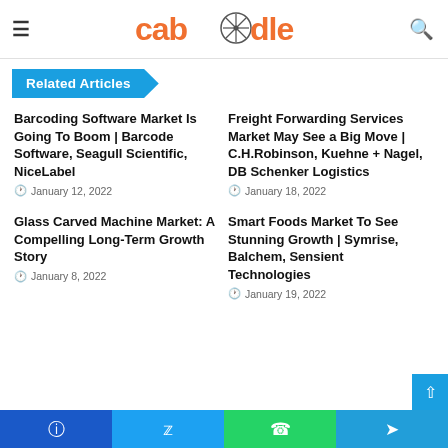caboodle (logo with wheel icon)
Related Articles
Barcoding Software Market Is Going To Boom | Barcode Software, Seagull Scientific, NiceLabel
January 12, 2022
Freight Forwarding Services Market May See a Big Move | C.H.Robinson, Kuehne + Nagel, DB Schenker Logistics
January 18, 2022
Glass Carved Machine Market: A Compelling Long-Term Growth Story
January 8, 2022
Smart Foods Market To See Stunning Growth | Symrise, Balchem, Sensient Technologies
January 19, 2022
Facebook Twitter WhatsApp Telegram